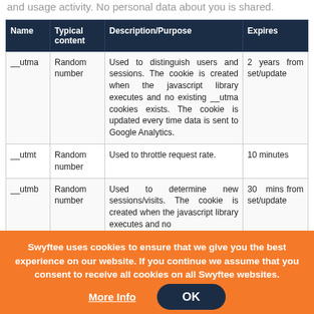and usage activity. No personal data about you is shared.
| Name | Typical content | Description/Purpose | Expires |
| --- | --- | --- | --- |
| __utma | Random number | Used to distinguish users and sessions. The cookie is created when the javascript library executes and no existing __utma cookies exists. The cookie is updated every time data is sent to Google Analytics. | 2 years from set/update |
| __utmt | Random number | Used to throttle request rate. | 10 minutes |
| __utmb | Random number | Used to determine new sessions/visits. The cookie is created when the javascript library executes and no... | 30 mins from set/update |
Swyftee uses cookies to ensure that we give you the best experience on our website. If you continue we assume that you consent to receive all cookies on all Swyftee websites.
More Info
OK